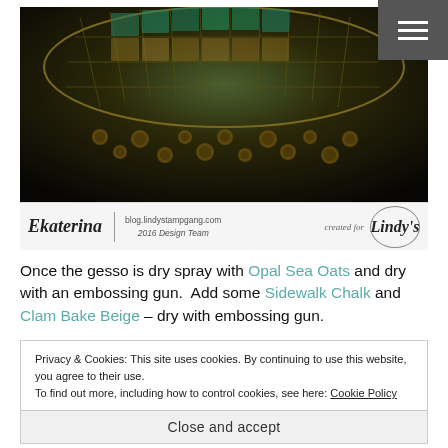[Figure (photo): Close-up photo of a decorative craft artwork showing textured turtle shell or mosaic pattern with golden/bronze tones on dark background, with floral embossed elements]
[Figure (infographic): Blog banner footer with author name Ekaterina, blog URL blog.lindystampgang.com, 2016 Design Team, created for Lindy's logo]
Once the gesso is dry spray with Opal Sea Oats and dry with an embossing gun.  Add some Sidewalk Chalk and Clam Bake Beige – dry with embossing gun.
Privacy & Cookies: This site uses cookies. By continuing to use this website, you agree to their use.
To find out more, including how to control cookies, see here: Cookie Policy
Close and accept